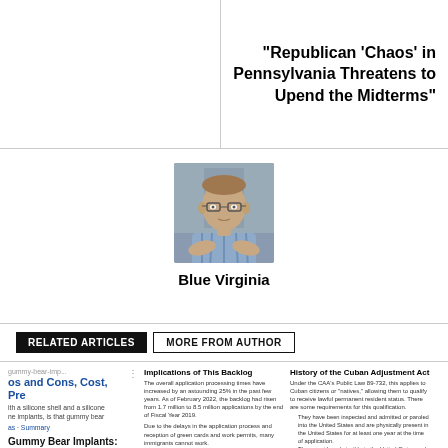“Republican ‘Chaos’ in Pennsylvania Threatens to Upend the Midterms”
[Figure (photo): Headshot of a man with glasses wearing a blue striped shirt, arms crossed, outdoors background]
Blue Virginia
RELATED ARTICLES   MORE FROM AUTHOR
gummy-bear-imp...
os and Cons, Cost, Pre
ith a silicone shell and a silicone
ne implants, is that gummy bear
as · Summary
Implications of This Backlog
The overall application processing times have increased by an astounding 25% in the past few years. As of February 2022, the backlog had risen from 1.7 million to 8.5 million applications by the end of Fiscal Year 2019.
Due to the delays in the application process and reception of green cards and work permits, many immigrants cannot work.
According to green card lawyer Brandon Ritchie of Ritchie Retention Injury & Immigration Attorneys, "There are many consequences to these delays. Many people need their green cards and visas to get a permanent job here. Without the right
History of the Cuban Adjustment Act
Under the CAA's Public Law 89-732, this applies to Cuban citizens or "natives," allowing them to qualify to receive lawful permanent resident status. There are some requirements for this qualification.
They have been inspected and admitted or paroled into the United States and are physically present in the United States for at least one year at the time of application.
They must be admissible to the United States and should merit a favorable exercise of discretion.
Those Cubans held at ports of entry and pursued the wet foot/dry foot policy were paroled under INA § 212(d)(5) to seek adjustment under the CAA. According to Immigration Attorney
Gummy Bear Implants: What You Need to Know
Biden Administration Aims to Reduce Immigration Application Backlog
A Policy Change Regarding the Parole Status of Certain Cubans Approved By USCIS